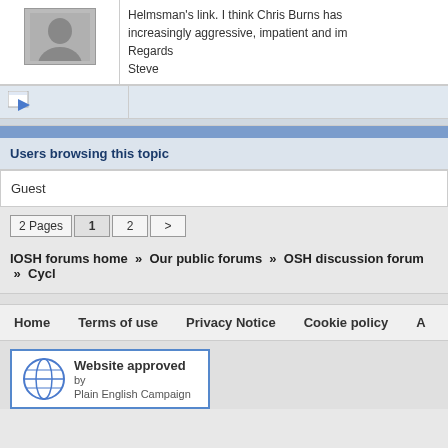Helmsman's link. I think Chris Burns has increasingly aggressive, impatient and im Regards Steve
Users browsing this topic
Guest
2 Pages  1  2  >
IOSH forums home » Our public forums » OSH discussion forum » Cycl
Home   Terms of use   Privacy Notice   Cookie policy   A
Website approved by Plain English Campaign